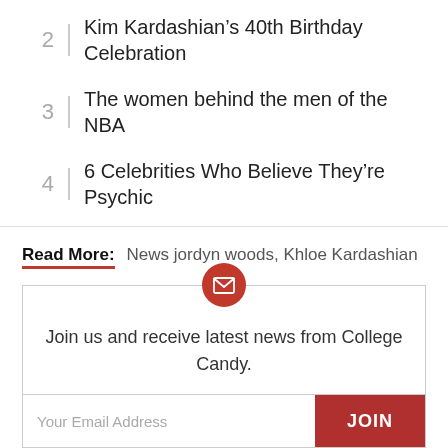2 | Kim Kardashian’s 40th Birthday Celebration
3 | The women behind the men of the NBA
4 | 6 Celebrities Who Believe They’re Psychic
Read More: News jordyn woods, Khloe Kardashian
Join us and receive latest news from College Candy.